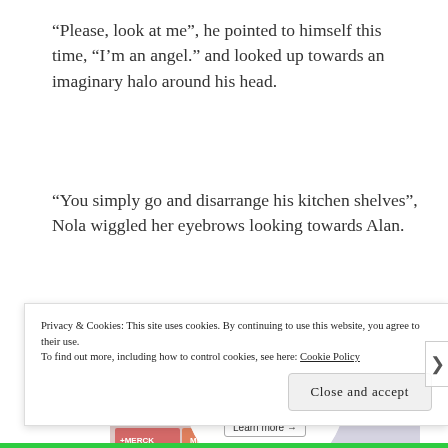“Please, look at me”, he pointed to himself this time, “I’m an angel.” and looked up towards an imaginary halo around his head.
“You simply go and disarrange his kitchen shelves”, Nola wiggled her eyebrows looking towards Alan.
[Figure (other): Advertisement banner for WordPress VIP 'Important Content' with a 'Learn more' button, overlaid on a background of colorful brand logos/tiles.]
Privacy & Cookies: This site uses cookies. By continuing to use this website, you agree to their use.
To find out more, including how to control cookies, see here: Cookie Policy
Close and accept